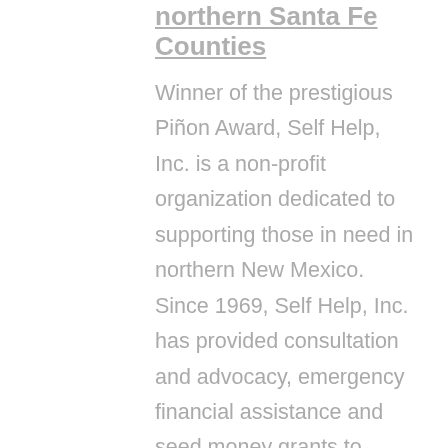northern Santa Fe Counties
Winner of the prestigious Piñon Award, Self Help, Inc. is a non-profit organization dedicated to supporting those in need in northern New Mexico. Since 1969, Self Help, Inc. has provided consultation and advocacy, emergency financial assistance and seed money grants to residents of Los Alamos, northern Santa Fe, Rio Arriba, and Taos counties.  Each year, through grants and private and public